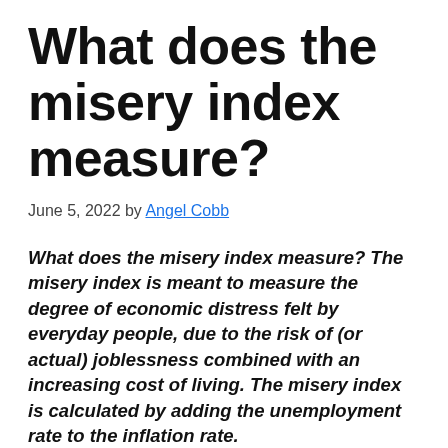What does the misery index measure?
June 5, 2022 by Angel Cobb
What does the misery index measure? The misery index is meant to measure the degree of economic distress felt by everyday people, due to the risk of (or actual) joblessness combined with an increasing cost of living. The misery index is calculated by adding the unemployment rate to the inflation rate.